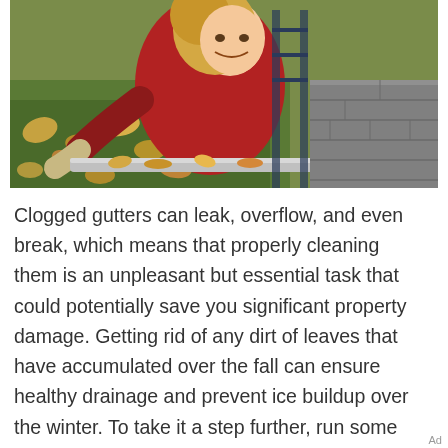[Figure (photo): A woman in a red jacket cleaning leaves out of a roof gutter, smiling at the camera, with autumn leaves visible on the ground below and a gray shingled roof beside her.]
Clogged gutters can leak, overflow, and even break, which means that properly cleaning them is an unpleasant but essential task that could potentially save you significant property damage. Getting rid of any dirt of leaves that have accumulated over the fall can ensure healthy drainage and prevent ice buildup over the winter. To take it a step further, run some water from a